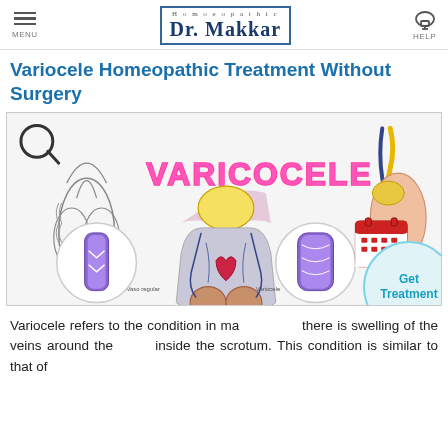MENU | Dr. Makkar (Homeopathic) | HELP
Variocele Homeopathic Treatment Without Surgery
[Figure (illustration): Medical illustration of variocele condition showing anatomical diagrams including Vaso regular and Variocele comparison, with 'VARICOCELE' text in pink, and a calendar/appointment icon in bottom right]
Variocele refers to the condition in ma... there is swelling of the veins around the... inside the scrotum. This condition is similar to that of